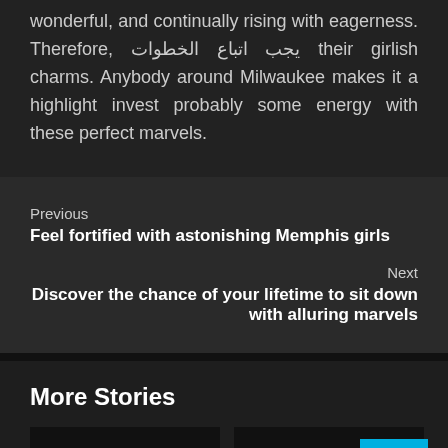wonderful, and continually rising with eagerness. Therefore, يجب اتباع الخطوات their girlish charms. Anybody around Milwaukee makes it a highlight invest probably some energy with these perfect marvels.
Previous
Feel fortified with astonishing Memphis girls
Next
Discover the chance of your lifetime to sit down with alluring marvels
More Stories